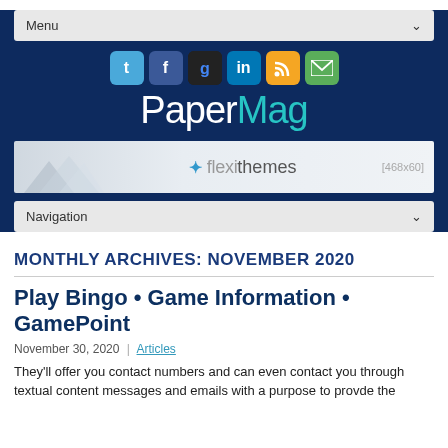Menu
[Figure (logo): PaperMag logo with social media icons (Twitter, Facebook, Google+, LinkedIn, RSS, Email) on dark blue background]
[Figure (illustration): Flexithemes advertisement banner [468x60]]
Navigation
MONTHLY ARCHIVES: NOVEMBER 2020
Play Bingo • Game Information • GamePoint
November 30, 2020  |  Articles
They'll offer you contact numbers and can even contact you through textual content messages and emails with a purpose to provde the